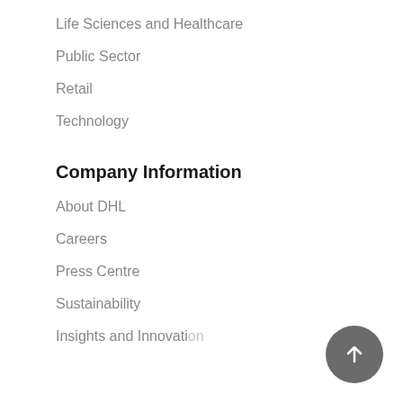Life Sciences and Healthcare
Public Sector
Retail
Technology
Company Information
About DHL
Careers
Press Centre
Sustainability
Insights and Innovation